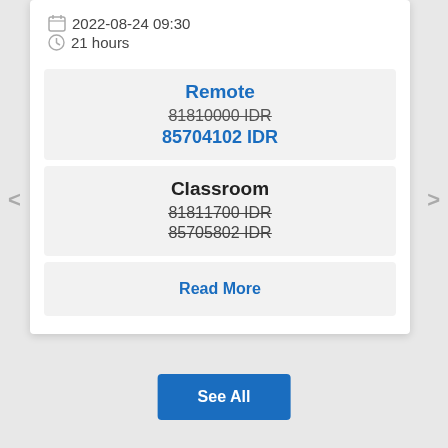2022-08-24 09:30
21 hours
Remote
81810000 IDR
85704102 IDR
Classroom
81811700 IDR
85705802 IDR
Read More
See All